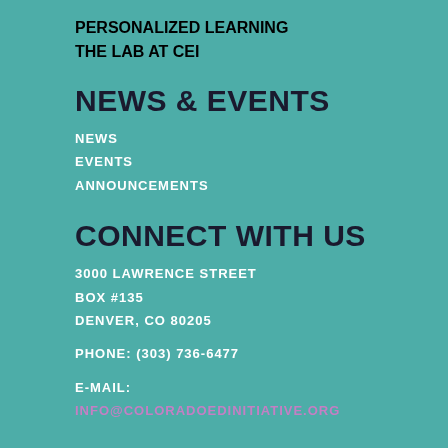PERSONALIZED LEARNING
THE LAB AT CEI
NEWS & EVENTS
NEWS
EVENTS
ANNOUNCEMENTS
CONNECT WITH US
3000 LAWRENCE STREET
BOX #135
DENVER, CO 80205
PHONE: (303) 736-6477
E-MAIL: INFO@COLORADOEDINITIATIVE.ORG